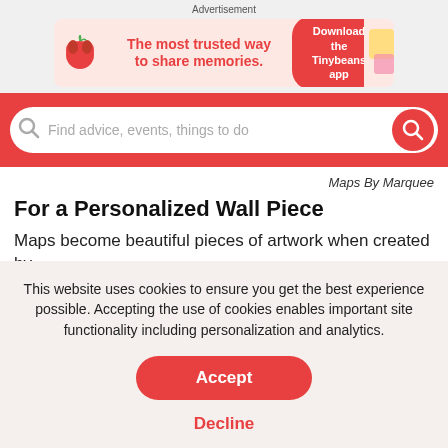Advertisement
[Figure (illustration): Tinybeans app advertisement banner with cherry icon, text 'The most trusted way to share memories.' and 'Download the Tinybeans app' call-to-action button]
[Figure (screenshot): Red search bar with placeholder text 'Find advice, events, things to do' and a red circular search button]
Maps By Marquee
For a Personalized Wall Piece
Maps become beautiful pieces of artwork when created by
This website uses cookies to ensure you get the best experience possible. Accepting the use of cookies enables important site functionality including personalization and analytics.
Accept
Decline